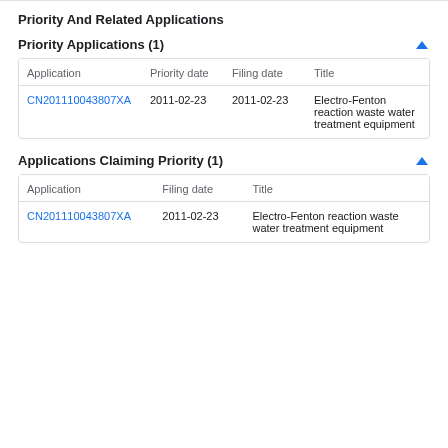Priority And Related Applications
Priority Applications (1)
| Application | Priority date | Filing date | Title |
| --- | --- | --- | --- |
| CN201110043807XA | 2011-02-23 | 2011-02-23 | Electro-Fenton reaction waste water treatment equipment |
Applications Claiming Priority (1)
| Application | Filing date | Title |
| --- | --- | --- |
| CN201110043807XA | 2011-02-23 | Electro-Fenton reaction waste water treatment equipment |